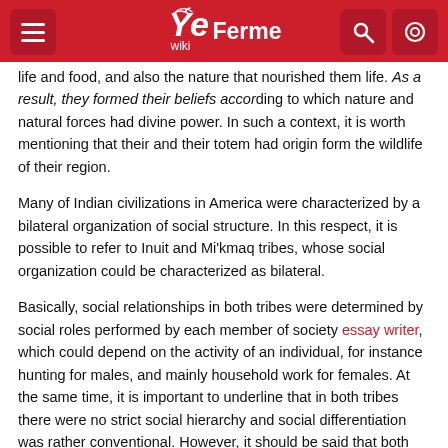Yes Wiki – Ferme
life and food, and also the nature that nourished them life. As a result, they formed their beliefs according to which nature and natural forces had divine power. In such a context, it is worth mentioning that their and their totem had origin form the wildlife of their region.
Many of Indian civilizations in America were characterized by a bilateral organization of social structure. In this respect, it is possible to refer to Inuit and Mi'kmaq tribes, whose social organization could be characterized as bilateral.
Basically, social relationships in both tribes were determined by social roles performed by each member of society essay writer, which could depend on the activity of an individual, for instance hunting for males, and mainly household work for females. At the same time, it is important to underline that in both tribes there were no strict social hierarchy and social differentiation was rather conventional. However, it should be said that both tribes had their leaders and elite that played the dominant role in the tribes
The views and beliefs of Native American tribes were traditionally